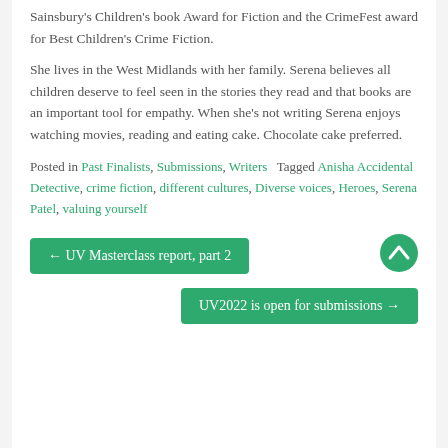Sainsbury's Children's book Award for Fiction and the CrimeFest award for Best Children's Crime Fiction.
She lives in the West Midlands with her family. Serena believes all children deserve to feel seen in the stories they read and that books are an important tool for empathy. When she's not writing Serena enjoys watching movies, reading and eating cake. Chocolate cake preferred.
Posted in Past Finalists, Submissions, Writers   Tagged Anisha Accidental Detective, crime fiction, different cultures, Diverse voices, Heroes, Serena Patel, valuing yourself
← UV Masterclass report, part 2
UV2022 is open for submissions →